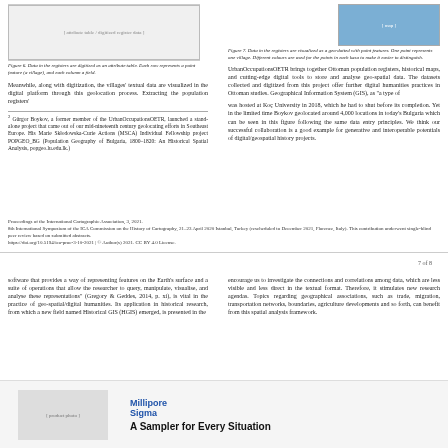[Figure (table-as-image): Table/attribute data screenshot showing digitized register data as rows and columns]
Figure 6. Data in the registers are digitized as an attribute table. Each row represents a point feature (a village), and each column a field.
Meanwhile, along with digitization, the villages' textual data are visualized in the digital platform through this geolocation process. Extracting the population registers'
[Figure (map): Map showing data in registers as maximum/polygon map dotted with point features. One point represents one village. Different colours are used for the points in each kaza to make it easier to distinguish.]
Figure 7. Data in the registers are visualized as a geo-dotted with point features. One point represents one village. Different colours are used for the points in each kaza to make it easier to distinguish.
UrbanOccupationsOETR brings together Ottoman population registers, historical maps, and cutting-edge digital tools to store and analyse geo-spatial data. The datasets collected and digitized from this project offer further digital humanities practices in Ottoman studies. Geographical Information System (GIS), as "a type of
² Gürgor Boykov, a former member of the UrbanOccupationsOETR, launched a stand-alone project that came out of our mid-nineteenth century geolocating efforts in Southeast Europe. His Marie Skłodowska-Curie Actions (MSCA) Individual Fellowship project POPGEO_BG (Population Geography of Bulgaria, 1800–1820: An Historical Spatial Analysis, popgeo.lu.edu.lk)
was hosted at Koç University in 2018, which he had to shut before its completion. Yet in the limited time Boykov geolocated around 4,000 locations in today's Bulgaria which can be seen in this figure following the same data entry principles. We think our successful collaboration is a good example for generative and interoperable potentials of digital/geospatial history projects.
Proceedings of the International Cartographic Association, 3, 2021.
8th International Symposium of the ICA Commission on the History of Cartography, 21–23 April 2020 Istanbul, Turkey (rescheduled to December 2021, Florence, Italy). This contribution underwent single-blind peer review based on submitted abstracts.
https://doi.org/10.5194/ica-proc-3-10-2021 | © Author(s) 2021. CC BY 4.0 License.
7 of 8
software that provides a way of representing features on the Earth's surface and a suite of operations that allow the researcher to query, manipulate, visualise, and analyse these representations" (Gregory & Geddes, 2014, p. xi), is vital in the practice of geo-spatial/digital humanities. Its application in historical research, from which a new field named Historical GIS (HGIS) emerged, is presented in the
encourage us to investigate the connections and correlations among data, which are less visible and less direct in the textual format. Therefore, it stimulates new research agendas. Topics regarding geographical associations, such as trade, migration, transportation networks, boundaries, agriculture developments and so forth, can benefit from this spatial analysis framework.
[Figure (photo): Advertisement photo showing laboratory equipment/samplers for Millipore Sigma]
MilliporeSigma
A Sampler for Every Situation